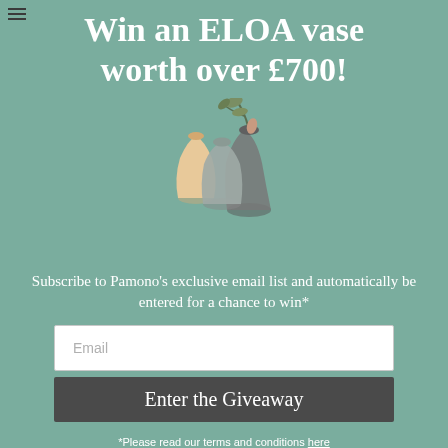Win an ELOA vase worth over £700!
[Figure (illustration): Three ELOA glass vases of different sizes and colors (cream, dark grey, medium grey) grouped together with a green plant/branch in the tallest vase, on a teal/sage green background.]
Subscribe to Pamono's exclusive email list and automatically be entered for a chance to win*
Email
Enter the Giveaway
*Please read our terms and conditions here